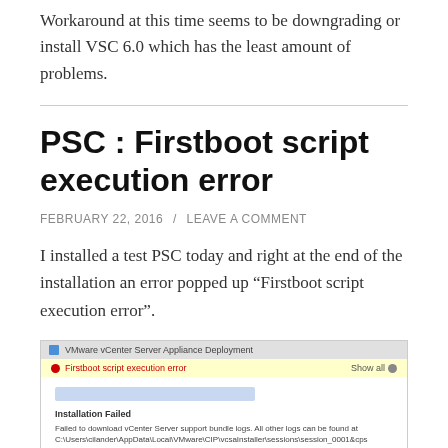Workaround at this time seems to be downgrading or install VSC 6.0 which has the least amount of problems.
PSC : Firstboot script execution error
FEBRUARY 22, 2016 / LEAVE A COMMENT
I installed a test PSC today and right at the end of the installation an error popped up “Firstboot script execution error”.
[Figure (screenshot): VMware vCenter Server Appliance Deployment dialog showing a Firstboot script execution error with a yellow warning bar, a progress bar, Installation Failed message, and error details about failed log download.]